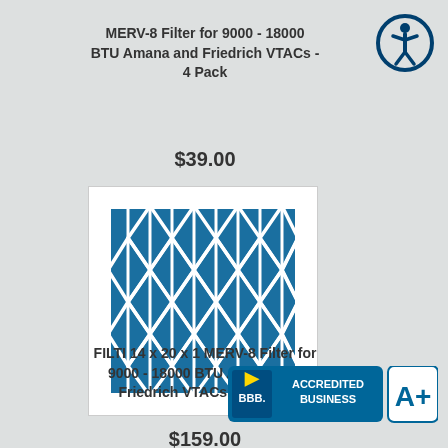MERV-8 Filter for 9000 - 18000 BTU Amana and Friedrich VTACs - 4 Pack
$39.00
[Figure (photo): MERV-8 air filter showing blue pleated media with white diamond grid overlay]
FILTI 14 x 20 x 1 MERV-8 Filter for 9000 - 18000 BTU Amana and Friedrich VTACs - 24 Pack
$159.00
[Figure (logo): BBB Accredited Business A+ rating badge with Click for Review text]
[Figure (logo): Accessibility icon - person in circle outline]